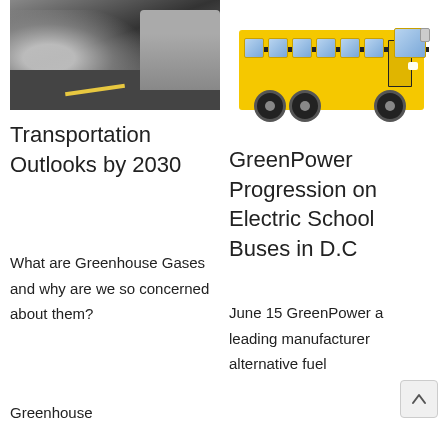[Figure (photo): Vehicle emitting heavy exhaust smoke on a road, dark gray smoke clouds visible]
[Figure (photo): Yellow school bus, full side view on white background]
Transportation Outlooks by 2030
What are Greenhouse Gases and why are we so concerned about them?
Greenhouse
GreenPower Progression on Electric School Buses in D.C
June 15 GreenPower a leading manufacturer alternative fuel
[Figure (other): Scroll to top arrow button icon]